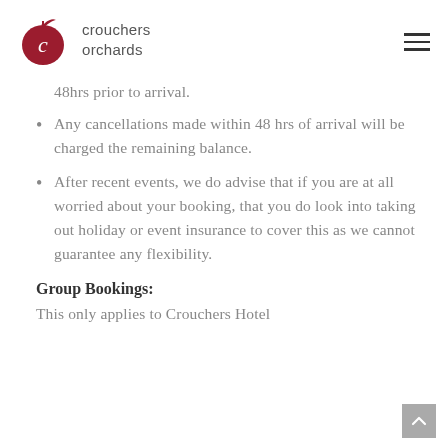crouchers orchards
48hrs prior to arrival.
Any cancellations made within 48 hrs of arrival will be charged the remaining balance.
After recent events, we do advise that if you are at all worried about your booking, that you do look into taking out holiday or event insurance to cover this as we cannot guarantee any flexibility.
Group Bookings:
This only applies to Crouchers Hotel